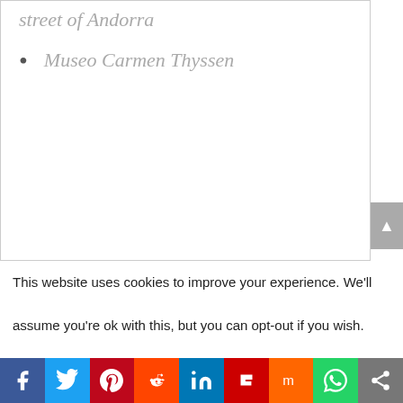street of Andorra
Museo Carmen Thyssen
This website uses cookies to improve your experience. We'll assume you're ok with this, but you can opt-out if you wish.
[Figure (other): Social sharing bar with icons for Facebook, Twitter, Pinterest, Reddit, LinkedIn, Flipboard, Mix, WhatsApp, and Share]